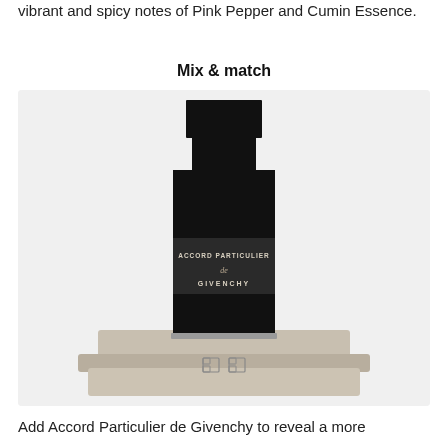vibrant and spicy notes of Pink Pepper and Cumin Essence.
Mix & match
[Figure (photo): A tall black rectangular perfume bottle labeled 'ACCORD PARTICULIER de GIVENCHY' sitting on a light beige textured base with the Givenchy logo embossed on it. The bottle has a square black cap and a dark band with white lettering around the middle.]
Add Accord Particulier de Givenchy to reveal a more